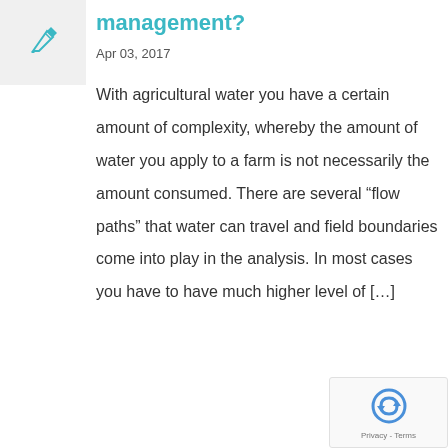[Figure (illustration): Teal/blue pen icon on light gray background]
management?
Apr 03, 2017
With agricultural water you have a certain amount of complexity, whereby the amount of water you apply to a farm is not necessarily the amount consumed. There are several “flow paths” that water can travel and field boundaries come into play in the analysis. In most cases you have to have much higher level of […]